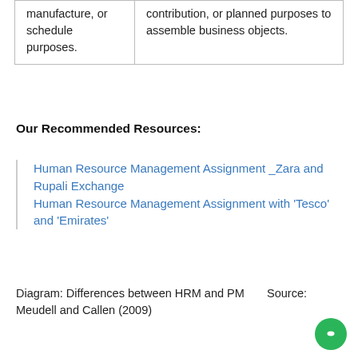| manufacture, or schedule purposes. | contribution, or planned purposes to assemble business objects. |
Our Recommended Resources:
Human Resource Management Assignment _Zara and Rupali Exchange
Human Resource Management Assignment with 'Tesco' and 'Emirates'
Diagram: Differences between HRM and PM      Source: Meudell and Callen (2009)